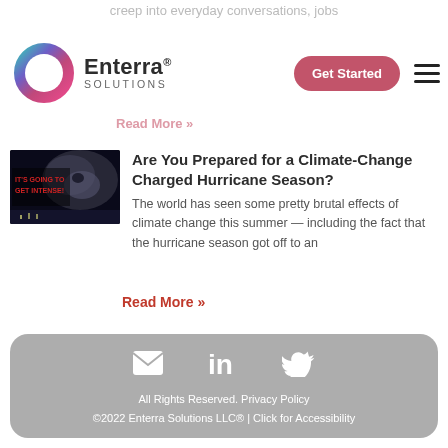creep into everyday conversations, jobs
[Figure (logo): Enterra Solutions circular ring logo in teal, purple, and pink colors]
Enterra® Solutions
Read More »
Are You Prepared for a Climate-Change Charged Hurricane Season?
The world has seen some pretty brutal effects of climate change this summer — including the fact that the hurricane season got off to an
Read More »
All Rights Reserved. Privacy Policy ©2022 Enterra Solutions LLC® | Click for Accessibility